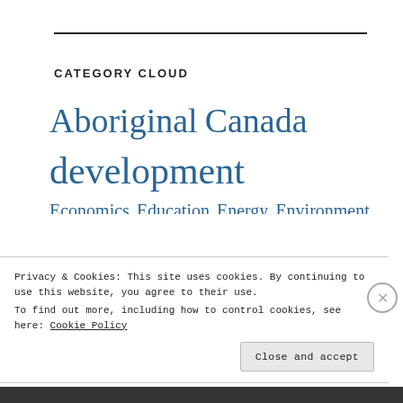CATEGORY CLOUD
[Figure (infographic): Tag/category cloud with words in varying sizes and blue color: Aboriginal, Canada, development (extra large), Economics, Education, Energy, Environment (medium-large), First Nations (large), Gender, Girls' education (medium), government (medium), health (extra large bold), health care (medium-large), Human (extra large), rights (partially visible), Indigenous (partially visible)]
Privacy & Cookies: This site uses cookies. By continuing to use this website, you agree to their use.
To find out more, including how to control cookies, see here: Cookie Policy
Close and accept